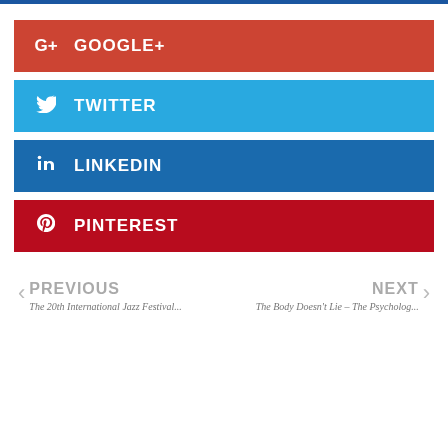GOOGLE+
TWITTER
LINKEDIN
PINTEREST
PREVIOUS — The 20th International Jazz Festival...
NEXT — The Body Doesn't Lie – The Psycholog...